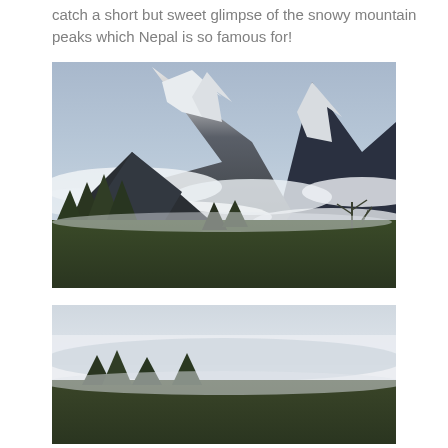catch a short but sweet glimpse of the snowy mountain peaks which Nepal is so famous for!
[Figure (photo): Photograph of snow-capped mountain peaks in Nepal, partially obscured by clouds and mist, with green trees in the foreground]
[Figure (photo): Second photograph, partially visible, showing a light/washed-out mountain or landscape scene]